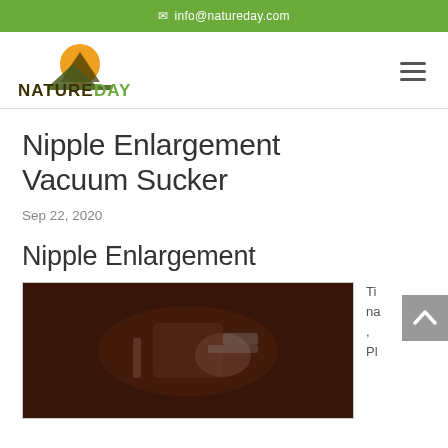info@natureday.com
[Figure (logo): NatureDay logo with orange sun and mountain silhouette, text NATUREDAY in dark and green]
Nipple Enlargement Vacuum Sucker
Sep 22, 2020
Nipple Enlargement
[Figure (photo): Close-up dark photo showing a vacuum sucker device]
Ti na , Pl